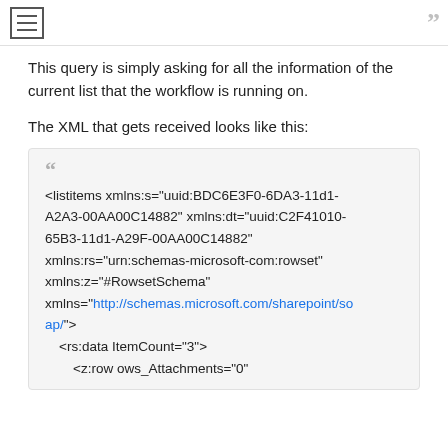This query is simply asking for all the information of the current list that the workflow is running on.
The XML that gets received looks like this:
<listitems xmlns:s="uuid:BDC6E3F0-6DA3-11d1-A2A3-00AA00C14882" xmlns:dt="uuid:C2F41010-65B3-11d1-A29F-00AA00C14882" xmlns:rs="urn:schemas-microsoft-com:rowset" xmlns:z="#RowsetSchema" xmlns="http://schemas.microsoft.com/sharepoint/soap/">
  <rs:data ItemCount="3">
    <z:row ows_Attachments="0"